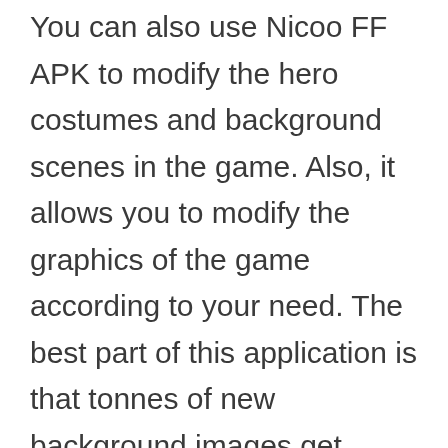You can also use Nicoo FF APK to modify the hero costumes and background scenes in the game. Also, it allows you to modify the graphics of the game according to your need. The best part of this application is that tonnes of new background images get regularly uploaded, so you get a variety to choose from.